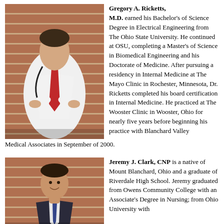[Figure (photo): Professional photo of Dr. Gregory A. Ricketts in white dress shirt and red tie with stethoscope, leaning against a brick wall with arms crossed]
Gregory A. Ricketts, M.D. earned his Bachelor's of Science Degree in Electrical Engineering from The Ohio State University. He continued at OSU, completing a Master's of Science in Biomedical Engineering and his Doctorate of Medicine. After pursuing a residency in Internal Medicine at The Mayo Clinic in Rochester, Minnesota, Dr. Ricketts completed his board certification in Internal Medicine. He practiced at The Wooster Clinic in Wooster, Ohio for nearly five years before beginning his practice with Blanchard Valley Medical Associates in September of 2000.
[Figure (photo): Professional photo of Jeremy J. Clark, CNP smiling, wearing a dark suit, against a brick wall background]
Jeremy J. Clark, CNP is a native of Mount Blanchard, Ohio and a graduate of Riverdale High School. Jeremy graduated from Owens Community College with an Associate's Degree in Nursing; from Ohio University with...